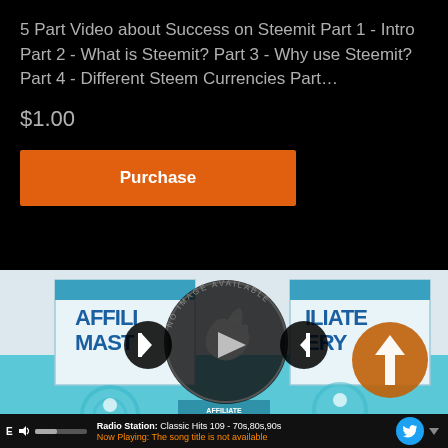5 Part Video about Success on Steemit Part 1 - Intro Part 2 - What is Steemit? Part 3 - Why use Steemit? Part 4 - Different Steem Currencies Part…
$1.00
Purchase
[Figure (screenshot): Product image showing Affiliate Mastery box sets with a media player overlay including play/skip controls and a 'No Image Available' watermark circle]
Radio Station: Classic Hits 109 - 70s,80s,90s Now Playing: The song title is not available